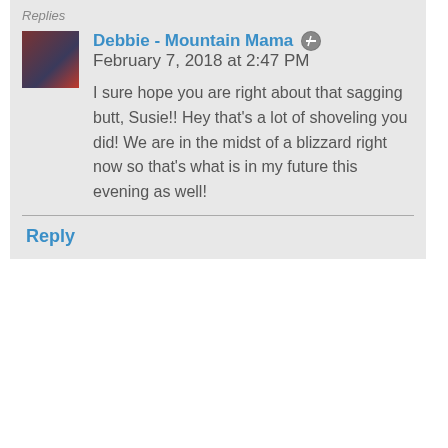Replies
Debbie - Mountain Mama  February 7, 2018 at 2:47 PM
I sure hope you are right about that sagging butt, Susie!! Hey that's a lot of shoveling you did! We are in the midst of a blizzard right now so that's what is in my future this evening as well!
Reply